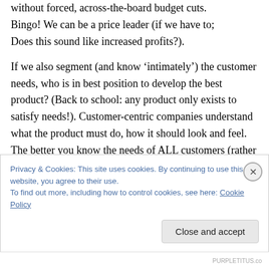without forced, across-the-board budget cuts. Bingo! We can be a price leader (if we have to; Does this sound like increased profits?).
If we also segment (and know ‘intimately’) the customer needs, who is in best position to develop the best product? (Back to school: any product only exists to satisfy needs!). Customer-centric companies understand what the product must do, how it should look and feel. The better you know the needs of ALL customers (rather than ‘statistically significant’ samples or, God
Privacy & Cookies: This site uses cookies. By continuing to use this website, you agree to their use.
To find out more, including how to control cookies, see here: Cookie Policy
Close and accept